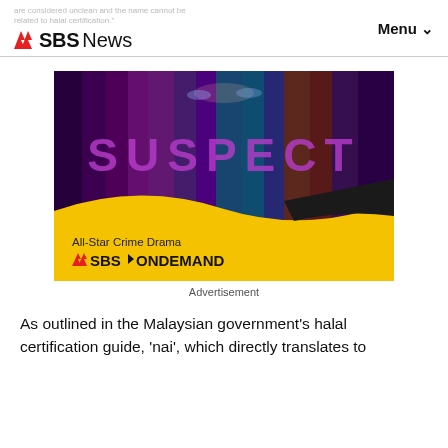are considered unclean and the name cannot be related to halal certification."
SBS News   Menu
[Figure (screenshot): SBS On Demand advertisement showing 'SUSPECT' All-Star Crime Drama with colorful vertical bars and eyes visible through them, yellow wave at bottom with 'All-Star Crime Drama SBS ON DEMAND' text]
Advertisement
As outlined in the Malaysian government's halal certification guide, 'nai', which directly translates to